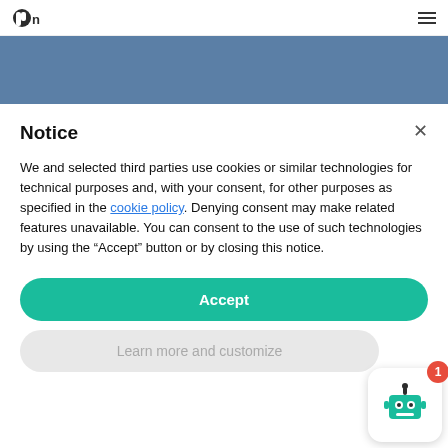Pn [logo] [hamburger menu]
[Figure (screenshot): Website hero section with blue-gray background showing partial text 'Subscription market insights']
Subscription market insights
Notice
We and selected third parties use cookies or similar technologies for technical purposes and, with your consent, for other purposes as specified in the cookie policy. Denying consent may make related features unavailable. You can consent to the use of such technologies by using the “Accept” button or by closing this notice.
Accept
Learn more and customize
[Figure (illustration): Chatbot robot icon widget in bottom right corner with red badge showing number 1]